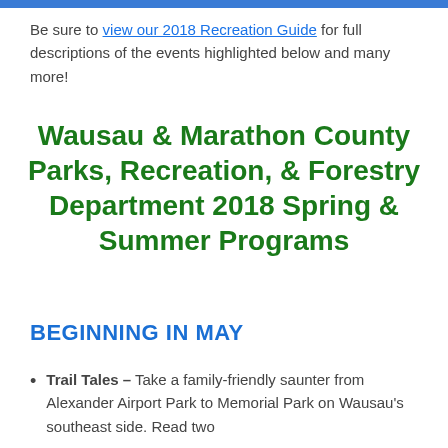Be sure to view our 2018 Recreation Guide for full descriptions of the events highlighted below and many more!
Wausau & Marathon County Parks, Recreation, & Forestry Department 2018 Spring & Summer Programs
BEGINNING IN MAY
Trail Tales – Take a family-friendly saunter from Alexander Airport Park to Memorial Park on Wausau's southeast side. Read two